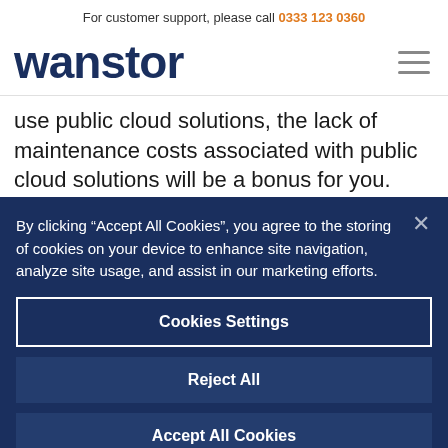For customer support, please call 0333 123 0360
wanstor
use public cloud solutions, the lack of maintenance costs associated with public cloud solutions will be a bonus for you.
By clicking “Accept All Cookies”, you agree to the storing of cookies on your device to enhance site navigation, analyze site usage, and assist in our marketing efforts.
Cookies Settings
Reject All
Accept All Cookies